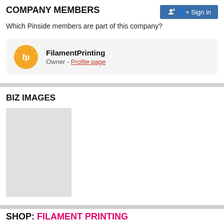COMPANY MEMBERS
Which Pinside members are part of this company?
FilamentPrinting
Owner - Profile page
BIZ IMAGES
[Figure (other): Gray placeholder rectangle for a business image]
SHOP: FILAMENT PRINTING